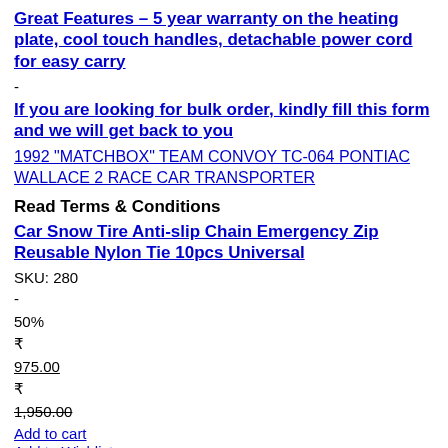Great Features – 5 year warranty on the heating plate, cool touch handles, detachable power cord for easy carry
-
If you are looking for bulk order, kindly fill this form and we will get back to you
1992 "MATCHBOX" TEAM CONVOY TC-064 PONTIAC WALLACE 2 RACE CAR TRANSPORTER
Read Terms & Conditions
Car Snow Tire Anti-slip Chain Emergency Zip Reusable Nylon Tie 10pcs Universal
SKU: 280
-
50%
₹
975.00
₹
1,950.00
Add to cart
Add to Wishlist